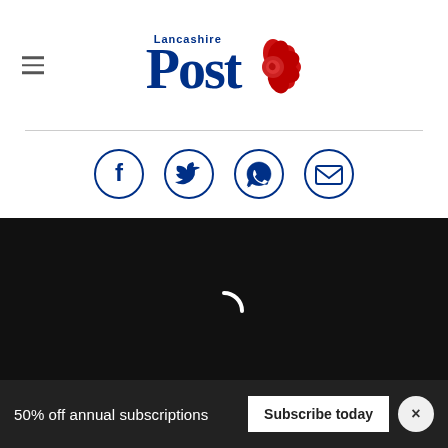Lancashire Post
[Figure (other): Social sharing icons: Facebook, Twitter, WhatsApp, Email — circular blue outlined icons]
[Figure (other): Black video player area with a white loading spinner arc in the center]
50% off annual subscriptions  Subscribe today  ×